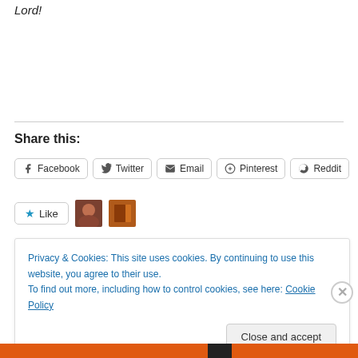Lord!
Share this:
[Figure (other): Social share buttons: Facebook, Twitter, Email, Pinterest, Reddit]
[Figure (other): Like button with two avatar images]
Privacy & Cookies: This site uses cookies. By continuing to use this website, you agree to their use.
To find out more, including how to control cookies, see here: Cookie Policy
Close and accept